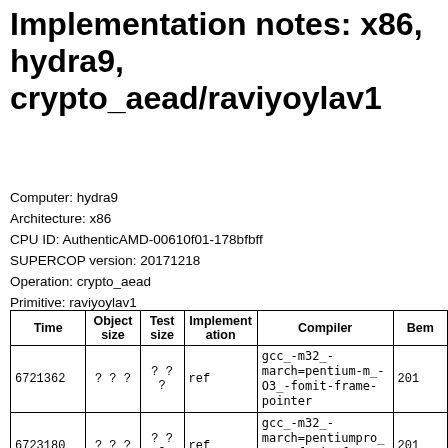Implementation notes: x86, hydra9, crypto_aead/raviyoylav1
Computer: hydra9
Architecture: x86
CPU ID: AuthenticAMD-00610f01-178bfbff
SUPERCOP version: 20171218
Operation: crypto_aead
Primitive: raviyoylav1
| Time | Object size | Test size | Implementation | Compiler | Bem |
| --- | --- | --- | --- | --- | --- |
| 6721362 | ? ? ? | ? ? ? | ref | gcc_-m32_-march=pentium-m_-O3_-fomit-frame-pointer | 201 |
| 6723180 | ? ? ? | ? ? ? | ref | gcc_-m32_-march=pentiumpro_-O3_-fomit-frame-pointer | 201 |
|  |  | ? ? |  | gcc_-m32_-march=pentium2 |  |